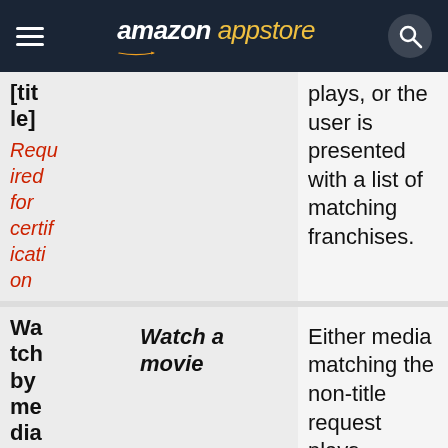amazon appstore
| Field | Example | Description |
| --- | --- | --- |
| [title]
Required for certification |  | plays, or the user is presented with a list of matching franchises. |
| Watch by media type
Optional | Watch a movie | Either media matching the non-title request plays (through an |